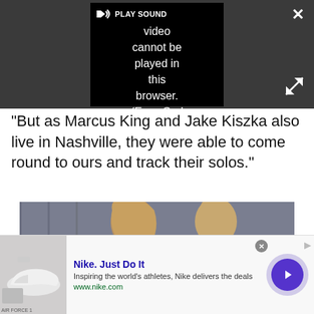[Figure (screenshot): Embedded video player with dark background showing error message: 'Video cannot be played in this browser. (Error Cod' with PLAY SOUND button and speaker icon, close button (X) and expand button.]
"But as Marcus King and Jake Kiszka also live in Nashville, they were able to come round to ours and track their solos."
[Figure (photo): Photo of two people with medium-length blonde hair wearing dark jackets, standing in front of a grey background. One person on the left holds what appears to be a guitar strap.]
[Figure (screenshot): Advertisement banner for Nike. Just Do It. Shows Nike Air Force 1 shoe image on left, ad title 'Nike. Just Do It', description 'Inspiring the world's athletes, Nike delivers the deals', URL 'www.nike.com', and a purple circular arrow button on the right.]